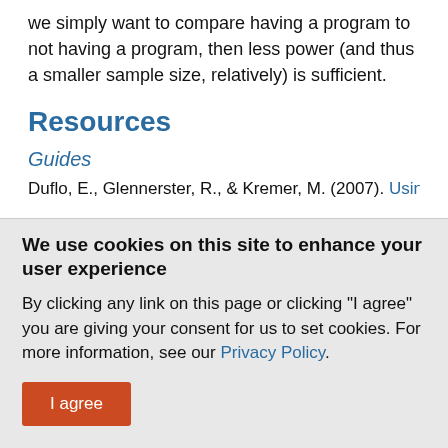we simply want to compare having a program to not having a program, then less power (and thus a smaller sample size, relatively) is sufficient.
Resources
Guides
Duflo, E., Glennerster, R., & Kremer, M. (2007). Using
We use cookies on this site to enhance your user experience
By clicking any link on this page or clicking "I agree" you are giving your consent for us to set cookies. For more information, see our Privacy Policy.
I agree